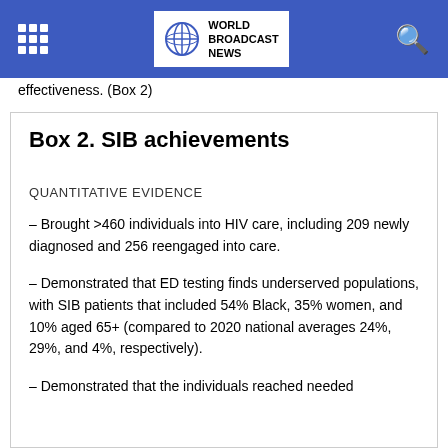World Broadcast News
effectiveness. (Box 2)
Box 2. SIB achievements
QUANTITATIVE EVIDENCE
– Brought >460 individuals into HIV care, including 209 newly diagnosed and 256 reengaged into care.
– Demonstrated that ED testing finds underserved populations, with SIB patients that included 54% Black, 35% women, and 10% aged 65+ (compared to 2020 national averages 24%, 29%, and 4%, respectively).
– Demonstrated that the individuals reached needed